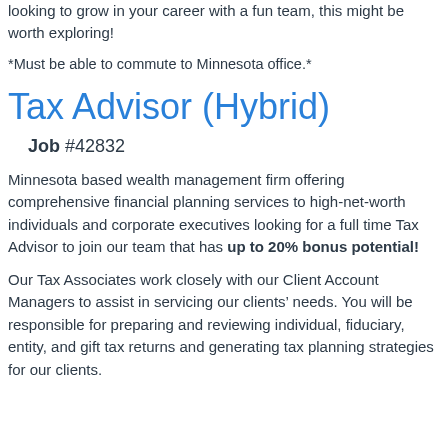looking to grow in your career with a fun team, this might be worth exploring!
*Must be able to commute to Minnesota office.*
Tax Advisor (Hybrid)
Job #42832
Minnesota based wealth management firm offering comprehensive financial planning services to high-net-worth individuals and corporate executives looking for a full time Tax Advisor to join our team that has up to 20% bonus potential!
Our Tax Associates work closely with our Client Account Managers to assist in servicing our clients’ needs. You will be responsible for preparing and reviewing individual, fiduciary, entity, and gift tax returns and generating tax planning strategies for our clients.